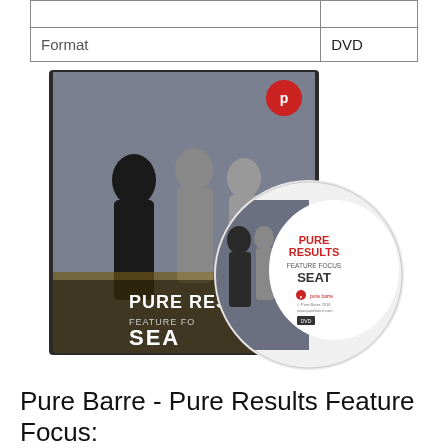|  |  |
| Format | DVD |
[Figure (photo): DVD product photo showing Pure Barre Pure Results Feature Focus: Seat DVD case and disc. The case features women in workout attire doing barre exercises. The disc label reads PURE RESULTS FEATURE FOCUS SEAT with the pure barre logo.]
Pure Barre - Pure Results Feature Focus: